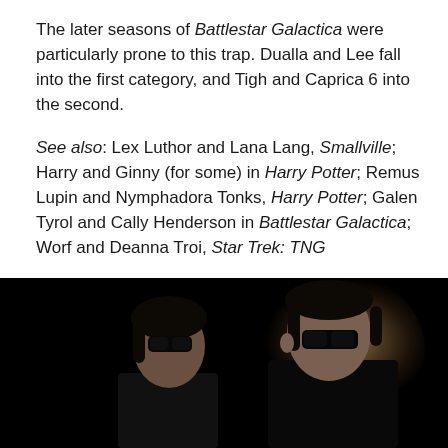The later seasons of Battlestar Galactica were particularly prone to this trap. Dualla and Lee fall into the first category, and Tigh and Caprica 6 into the second.
See also: Lex Luthor and Lana Lang, Smallville; Harry and Ginny (for some) in Harry Potter; Remus Lupin and Nymphadora Tonks, Harry Potter; Galen Tyrol and Cally Henderson in Battlestar Galactica; Worf and Deanna Troi, Star Trek: TNG
[Figure (photo): Dark cinematic photo of two people wearing sunglasses against a black background with a warm glow behind the right figure. Appears to be from The Matrix film.]